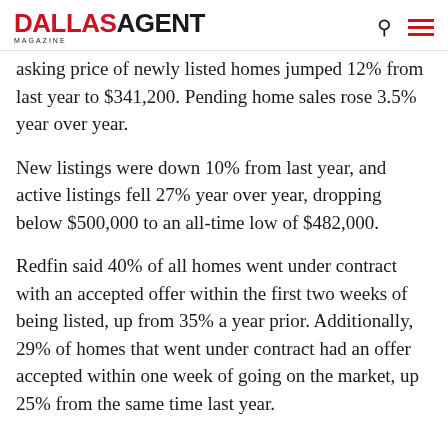DALLAS AGENT MAGAZINE
asking price of newly listed homes jumped 12% from last year to $341,200. Pending home sales rose 3.5% year over year.
New listings were down 10% from last year, and active listings fell 27% year over year, dropping below $500,000 to an all-time low of $482,000.
Redfin said 40% of all homes went under contract with an accepted offer within the first two weeks of being listed, up from 35% a year prior. Additionally, 29% of homes that went under contract had an offer accepted within one week of going on the market, up 25% from the same time last year.